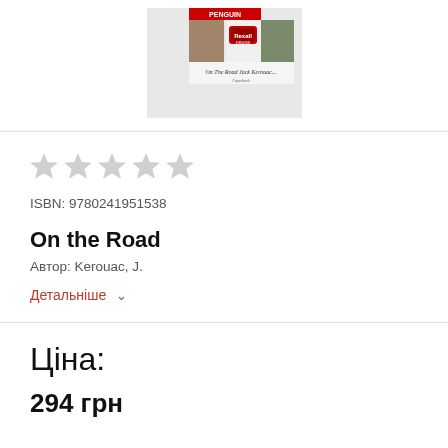[Figure (photo): Book cover image of 'On the Road' by Jack Kerouac, showing a collage of road trip photographs with the title text visible at the bottom of the cover.]
ISBN: 9780241951538
On the Road
Автор: Kerouac, J.
Детальніше ∨
Ціна:
294 грн